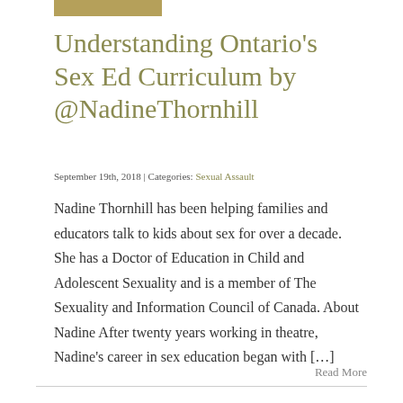Understanding Ontario's Sex Ed Curriculum by @NadineThornhill
September 19th, 2018 | Categories: Sexual Assault
Nadine Thornhill has been helping families and educators talk to kids about sex for over a decade. She has a Doctor of Education in Child and Adolescent Sexuality and is a member of The Sexuality and Information Council of Canada. About Nadine After twenty years working in theatre, Nadine's career in sex education began with […]
Read More